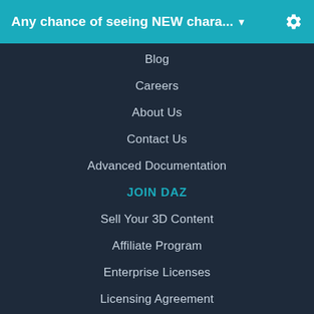Any chance of seeing NEW chara... ▾
Blog
Careers
About Us
Contact Us
Advanced Documentation
JOIN DAZ
Sell Your 3D Content
Affiliate Program
Enterprise Licenses
Licensing Agreement
Open Source
Privacy Policy
Terms of Service
DAZ STORE